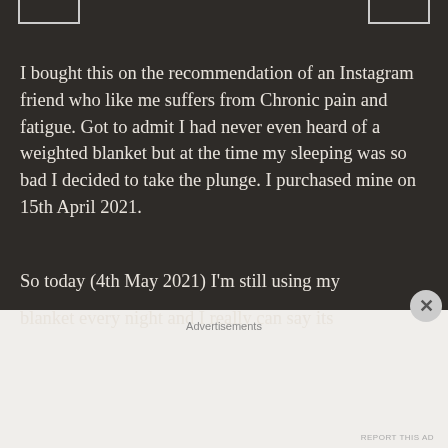[Figure (screenshot): Top navigation bar elements: two rectangular bracket shapes at top left and top right on dark background]
I bought this on the recommendation of an Instagram friend who like me suffers from Chronic pain and fatigue. Got to admit I had never even heard of a weighted blanket but at the time my sleeping was so bad I decided to take the plunge. I purchased mine on 15th April 2021.
So today (4th May 2021) I'm still using my blanket every night and I really can say its
Advertisements